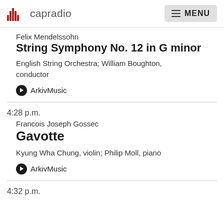capradio | MENU
Felix Mendelssohn
String Symphony No. 12 in G minor
English String Orchestra; William Boughton, conductor
ArkivMusic
4:28 p.m.
Francois Joseph Gossec
Gavotte
Kyung Wha Chung, violin; Philip Moll, piano
ArkivMusic
4:32 p.m.